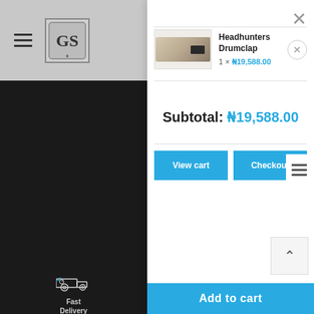[Figure (screenshot): Website shopping cart popup overlay showing a product listing for Headhunters Drumclap with price ₦19,588.00, subtotal of ₦19,588.00, and View cart / Checkout buttons. Left sidebar shows dark navigation with delivery icon. Bottom has Add to cart bar.]
Headhunters Drumclap
1 × ₦19,588.00
Subtotal: ₦19,588.00
View cart
Checkout
Fast Delivery
Add to cart